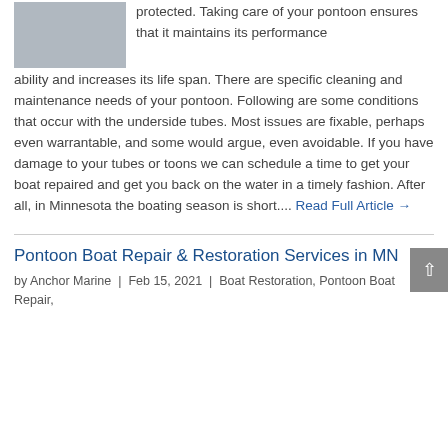[Figure (photo): Photo of a pontoon boat underside/hull in a workshop or storage area with metal supports visible]
protected. Taking care of your pontoon ensures that it maintains its performance ability and increases its life span. There are specific cleaning and maintenance needs of your pontoon. Following are some conditions that occur with the underside tubes. Most issues are fixable, perhaps even warrantable, and some would argue, even avoidable. If you have damage to your tubes or toons we can schedule a time to get your boat repaired and get you back on the water in a timely fashion. After all, in Minnesota the boating season is short.... Read Full Article →
Pontoon Boat Repair & Restoration Services in MN
by Anchor Marine | Feb 15, 2021 | Boat Restoration, Pontoon Boat Repair,